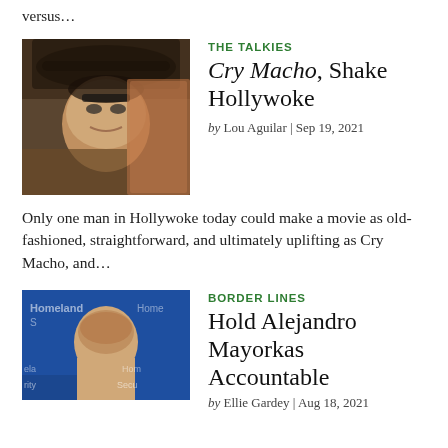versus…
THE TALKIES
Cry Macho, Shake Hollywoke
by Lou Aguilar | Sep 19, 2021
[Figure (photo): Clint Eastwood wearing a hat and sunglasses, seen through a car window]
Only one man in Hollywoke today could make a movie as old-fashioned, straightforward, and ultimately uplifting as Cry Macho, and…
BORDER LINES
Hold Alejandro Mayorkas Accountable
by Ellie Gardey | Aug 18, 2021
[Figure (photo): Man in front of Homeland Security background with text visible]